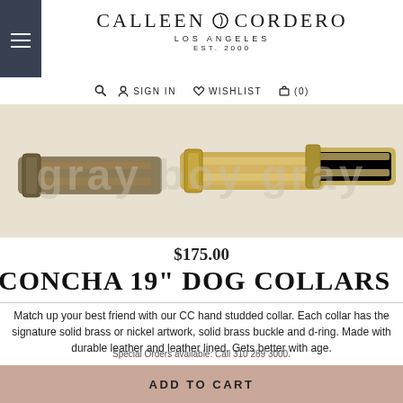CALLEEN O CORDERO
LOS ANGELES
EST. 2000
SIGN IN  WISHLIST  (0)
[Figure (photo): Three concha dog collars shown side by side: left is dark/antique brass, center is gold/brass, right is lighter gold — all with studded concha design and buckle]
$175.00
CONCHA 19" DOG COLLARS
Match up your best friend with our CC hand studded collar. Each collar has the signature solid brass or nickel artwork, solid brass buckle and d-ring. Made with durable leather and leather lined. Gets better with age.
19" measured from middle hole, 1" wide. (Fits from 18" to 20 1/2")
Special Orders available: Call 310 289 3000.
ADD TO CART